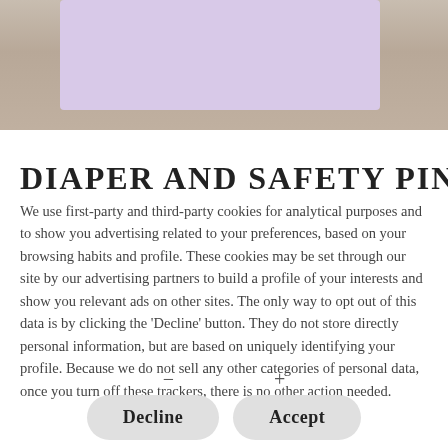[Figure (photo): Partial view of a lavender/purple paper or card on a wood surface background, partially visible at the top of the page]
DIAPER AND SAFETY PIN
We use first-party and third-party cookies for analytical purposes and to show you advertising related to your preferences, based on your browsing habits and profile. These cookies may be set through our site by our advertising partners to build a profile of your interests and show you relevant ads on other sites. The only way to opt out of this data is by clicking the 'Decline' button. They do not store directly personal information, but are based on uniquely identifying your profile. Because we do not sell any other categories of personal data, once you turn off these trackers, there is no other action needed.